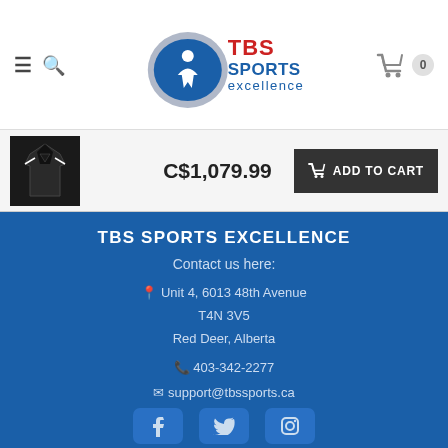[Figure (logo): TBS Sports Excellence logo with oval shape, person icon, and text]
C$1,079.99
ADD TO CART
TBS SPORTS EXCELLENCE
Contact us here:
Unit 4, 6013 48th Avenue T4N 3V5 Red Deer, Alberta
403-342-2277
support@tbssports.ca